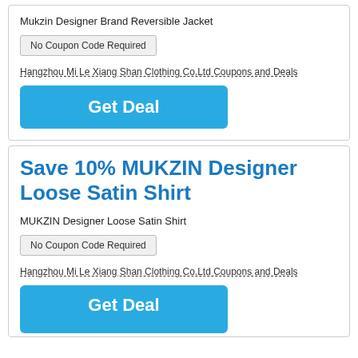Mukzin Designer Brand Reversible Jacket
No Coupon Code Required
Hangzhou Mi Le Xiang Shan Clothing Co.Ltd Coupons and Deals
Get Deal
Save 10% MUKZIN Designer Loose Satin Shirt
MUKZIN Designer Loose Satin Shirt
No Coupon Code Required
Hangzhou Mi Le Xiang Shan Clothing Co.Ltd Coupons and Deals
Get Deal